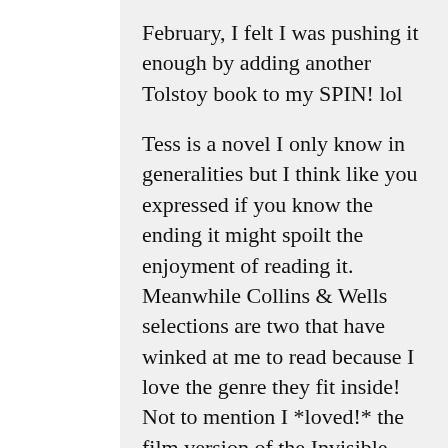February, I felt I was pushing it enough by adding another Tolstoy book to my SPIN! lol
Tess is a novel I only know in generalities but I think like you expressed if you know the ending it might spoilt the enjoyment of reading it. Meanwhile Collins & Wells selections are two that have winked at me to read because I love the genre they fit inside! Not to mention I *loved!* the film version of the Invisible Man years and years before I ever realised it was a novel!